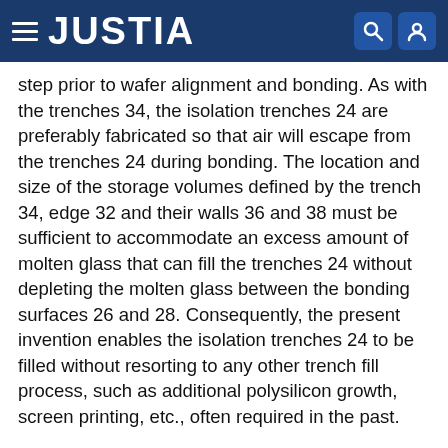JUSTIA
step prior to wafer alignment and bonding. As with the trenches 34, the isolation trenches 24 are preferably fabricated so that air will escape from the trenches 24 during bonding. The location and size of the storage volumes defined by the trench 34, edge 32 and their walls 36 and 38 must be sufficient to accommodate an excess amount of molten glass that can fill the trenches 24 without depleting the molten glass between the bonding surfaces 26 and 28. Consequently, the present invention enables the isolation trenches 24 to be filled without resorting to any other trench fill process, such as additional polysilicon growth, screen printing, etc., often required in the past.
[0025] In view of the above, the present invention provides a glass frit bonding process by which the size of a device package, such as a MEMS device, can be